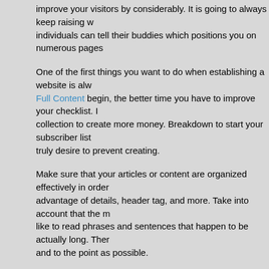improve your visitors by considerably. It is going to always keep raising w individuals can tell their buddies which positions you on numerous pages
One of the first things you want to do when establishing a website is alw Full Content begin, the better time you have to improve your checklist. I collection to create more money. Breakdown to start your subscriber list truly desire to prevent creating.
Make sure that your articles or content are organized effectively in order advantage of details, header tag, and more. Take into account that the m like to read phrases and sentences that happen to be actually long. Ther and to the point as possible.
You need to article on a regular basis if you wish followers to go to your new items frequently maintains your readers' interest in order that they'll often post everyday. It may help to write down information to previous a creating your site, then dole it once a day as you think of much more to k the gaps if you discover you will be getting difficulties coming up with sor
Make sure your site content don't bring about the "It's a long time thus i c Research shows that people stop paying attention more quickly when lo do when reading through print out. For this reason, try to keep articles be